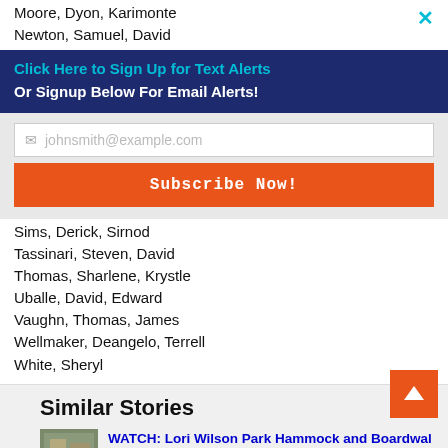Moore, Dyon, Karimonte
Newton, Samuel, David
Click Here to Sign Up for Text Alerts
Or Signup Below For Email Alerts!
johnsmith@example.com
Subscribe Now!
Sims, Derick, Sirnod
Tassinari, Steven, David
Thomas, Sharlene, Krystle
Uballe, David, Edward
Vaughn, Thomas, James
Wellmaker, Deangelo, Terrell
White, Sheryl
Similar Stories
WATCH: Lori Wilson Park Hammock and Boardwalk Cocoa Beach Named in Honor of Phyllis and Howard Mansfield
[Figure (photo): Thumbnail image of park/boardwalk scene]